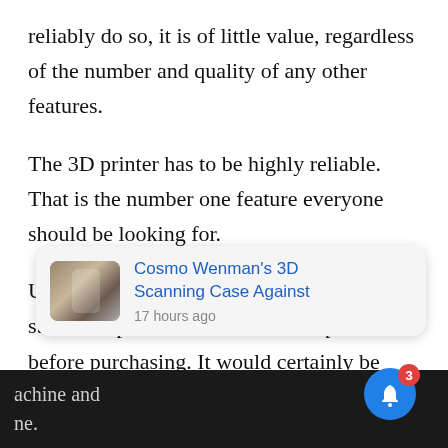reliably do so, it is of little value, regardless of the number and quality of any other features.
The 3D printer has to be highly reliable. That is the number one feature everyone should be looking for.
Unfortunately, there doesn’t seem to be a standard specification one can inspect before purchasing. It would certainly be terrific if each machine had a “Reliability Rating”. You could
achine and ne.
[Figure (screenshot): Notification card overlay showing 'Cosmo Wenman's 3D Scanning Case Against' with a thumbnail of 3D-scanned sculptures, timestamped '17 hours ago'. An X close button and a blue bell notification button with badge count 3 are also visible.]
Th...